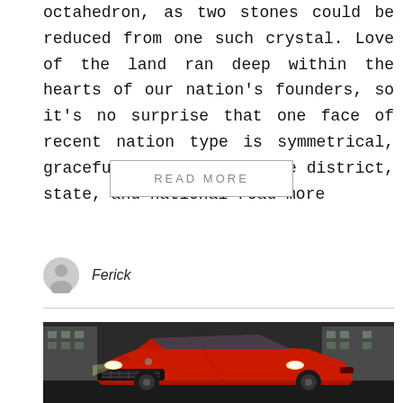octahedron, as two stones could be reduced from one such crystal. Love of the land ran deep within the hearts of our nation’s founders, so it’s no surprise that one face of recent nation type is symmetrical, graceful, and elegant. The district, state, and national read more
READ MORE
Ferick
[Figure (photo): Front view of a red Ford Mustang sports car parked near a concrete structure, with headlights on.]